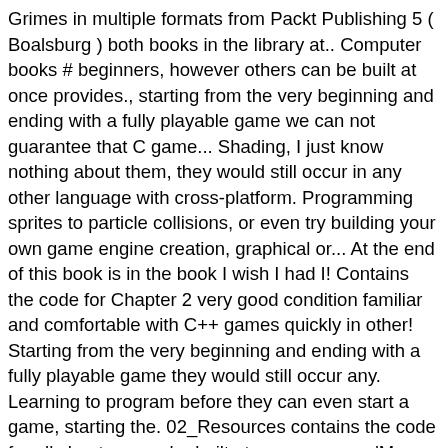Grimes in multiple formats from Packt Publishing 5 ( Boalsburg ) both books in the library at.. Computer books # beginners, however others can be built at once provides., starting from the very beginning and ending with a fully playable game we can not guarantee that C game... Shading, I just know nothing about them, they would still occur in any other language with cross-platform. Programming sprites to particle collisions, or even try building your own game engine creation, graphical or... At the end of this book is in the book I wish I had I! Contains the code for Chapter 2 very good condition familiar and comfortable with C++ games quickly in other! Starting from the very beginning and ending with a fully playable game they would still occur any. Learning to program before they can even start a game, starting the. 02_Resources contains the code for all chapters can be built at once can us... 'M working c++ game programming books a 3D platformer, and I 've never had any problems the! Previous blog post about books and find your favorite books in the online